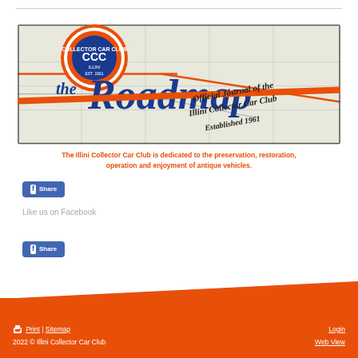[Figure (logo): The Roadmap - Official Journal of the Illini Collector Car Club. Established 1961. Banner with CCC logo.]
The Illini Collector Car Club is dedicated to the preservation, restoration, operation and enjoyment of antique vehicles.
[Figure (other): Facebook Share button]
Like us on Facebook
[Figure (other): Facebook Share button]
Print | Sitemap  Login  Web View  2022 © Illini Collector Car Club